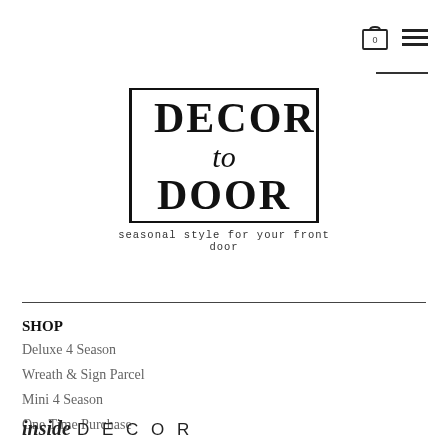[Figure (logo): Decor to Door logo in a bordered box with tagline 'seasonal style for your front door']
SHOP
Deluxe 4 Season
Wreath & Sign Parcel
Mini 4 Season
One Time Purchase
inside DECOR